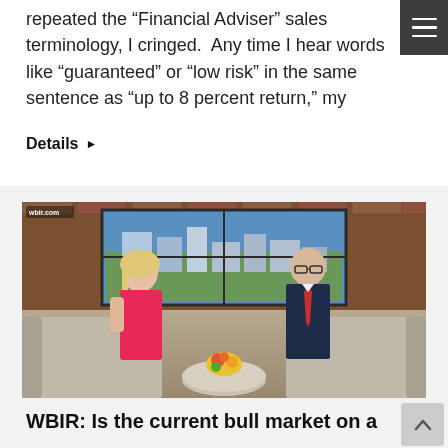repeated the “Financial Adviser” sales terminology, I cringed.  Any time I hear words like “guaranteed” or “low risk” in the same sentence as “up to 8 percent return,” my
Details ▸
[Figure (photo): Two people seated on a couch in a TV studio setting with a city skyline visible through windows in the background. A woman in a pink dress sits on the left and a man in a suit sits on the right. There is a round table with flowers between them. The wbir.com logo is visible in the upper left corner.]
WBIR: Is the current bull market on a